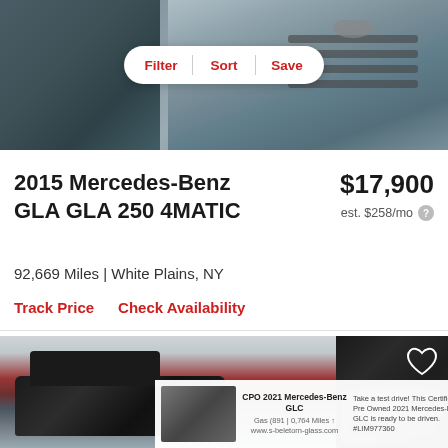[Figure (photo): Photo of a silver/grey Mercedes-Benz GLA front view with Filter, Sort, Save button bar overlay]
2015 Mercedes-Benz GLA GLA 250 4MATIC
$17,900
est. $258/mo
92,669 Miles | White Plains, NY
Track Price    Check Availability
[Figure (photo): Bottom strip showing a red/dark SUV photo on left and a dark car interior/exterior thumbnail on right, with a CPO 2021 Mercedes-Benz GLC advertisement overlay popup]